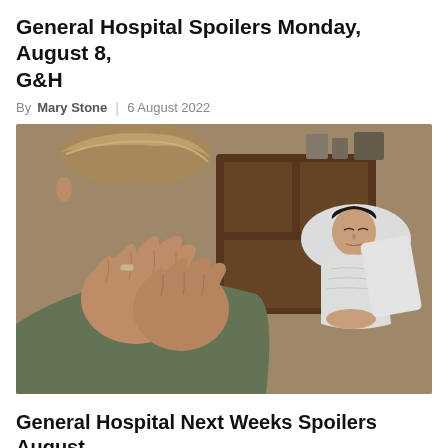General Hospital Spoilers Monday, August 8, G&H
By Mary Stone | 6 August 2022
[Figure (photo): A man covering his face with both hands, wearing a ring, in the foreground. In the background, a woman in a hospital gown reclines with eyes closed, wearing a wrist ID band.]
General Hospital Next Weeks Spoilers August